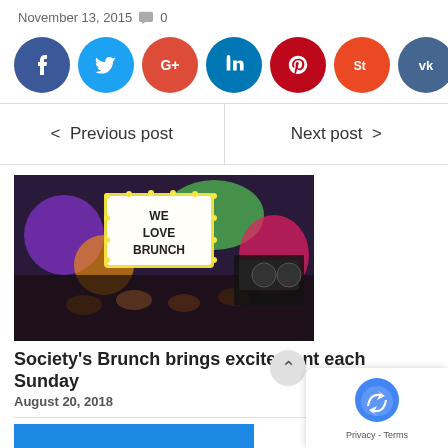November 13, 2015  💬 0
[Figure (infographic): Social media share buttons: Facebook (dark blue), Twitter (light blue), Google+ (red), LinkedIn (dark blue), Pinterest (red), StumbleUpon (orange-red), VK (dark blue-grey)]
< Previous post    Next post >
[Figure (photo): People holding a sign saying WE LOVE BRUNCH in a colorful venue with DJ equipment, taken at Society's Brunch event]
Society's Brunch brings excitement each Sunday
August 20, 2018
[Figure (photo): Blue image at bottom of page (partial)]